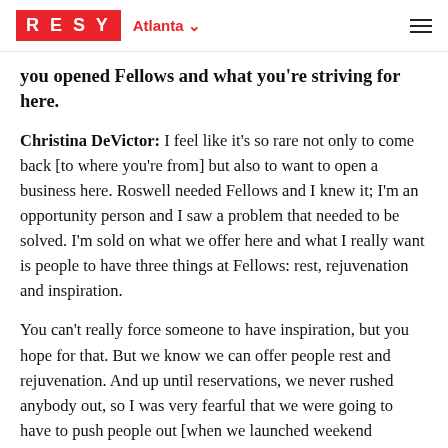RESY  Atlanta
you opened Fellows and what you're striving for here.
Christina DeVictor: I feel like it's so rare not only to come back [to where you're from] but also to want to open a business here. Roswell needed Fellows and I knew it; I'm an opportunity person and I saw a problem that needed to be solved. I'm sold on what we offer here and what I really want is people to have three things at Fellows: rest, rejuvenation and inspiration.
You can't really force someone to have inspiration, but you hope for that. But we know we can offer people rest and rejuvenation. And up until reservations, we never rushed anybody out, so I was very fearful that we were going to have to push people out [when we launched weekend reservations.] But what actually started happening is we realized that having reservations can allow us to meet that goal even better.